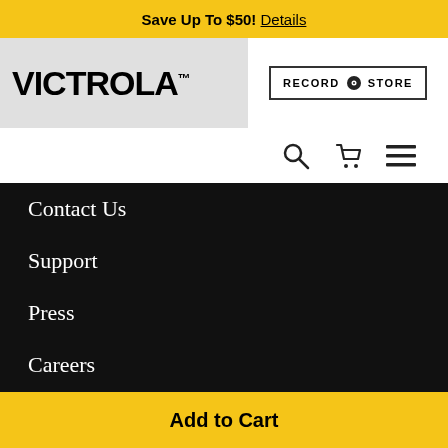Save Up To $50! Details
[Figure (logo): Victrola brand logo in bold black text on light gray background]
[Figure (other): Record Store button with circle icon, bordered rectangle]
[Figure (other): Navigation icons: search magnifying glass, shopping cart, hamburger menu]
Contact Us
Support
Press
Careers
$40.98
− 1 +
Add to Cart